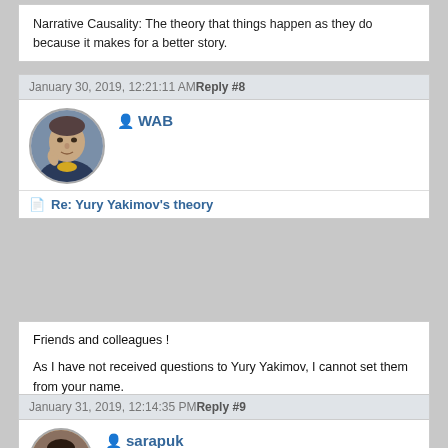Narrative Causality: The theory that things happen as they do because it makes for a better story.
January 30, 2019, 12:21:11 AM  Reply #8
WAB
Re: Yury Yakimov's theory
Friends and colleagues !

As I have not received questions to Yury Yakimov, I cannot set them from your name.
We talked to it on this theme still 10 years ago, therefore I yet have to it no new questions. Therefore I cannot add that still later.

Logged
January 31, 2019, 12:14:35 PM  Reply #9
sarapuk